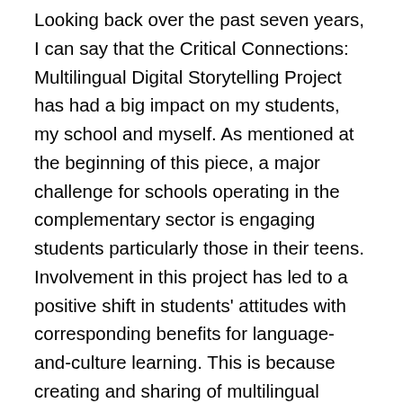Looking back over the past seven years, I can say that the Critical Connections: Multilingual Digital Storytelling Project has had a big impact on my students, my school and myself. As mentioned at the beginning of this piece, a major challenge for schools operating in the complementary sector is engaging students particularly those in their teens. Involvement in this project has led to a positive shift in students' attitudes with corresponding benefits for language-and-culture learning. This is because creating and sharing of multilingual digital stories has provided a relevant, challenging and exciting context for language learning. The opportunity to create stories related to their own lifeworlds, interests and concerns, rather than prescribed textbook topics, has been important for students. The use of digital media and the sharing of work with a global audience has also held considerable appeal. Furthermore, between-school collaboration and